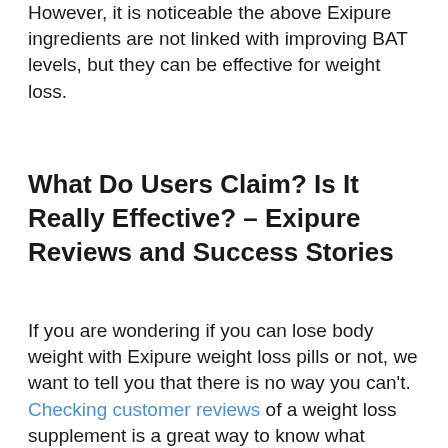However, it is noticeable the above Exipure ingredients are not linked with improving BAT levels, but they can be effective for weight loss.
What Do Users Claim? Is It Really Effective? – Exipure Reviews and Success Stories
If you are wondering if you can lose body weight with Exipure weight loss pills or not, we want to tell you that there is no way you can't. Checking customer reviews of a weight loss supplement is a great way to know what results it can offer. We did the same and found some of the compelling Exipure reviews on its official website. So let's late a look at some customer review before we go in the this topic in the most of